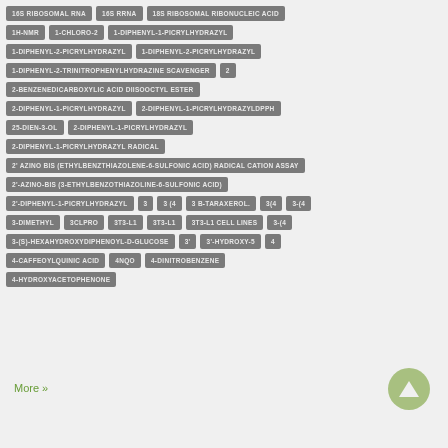16S RIBOSOMAL RNA
16S RRNA
18S RIBOSOMAL RIBONUCLEIC ACID
1H-NMR
1-CHLORO-2
1-DIPHENYL-1-PICRYLHYDRAZYL
1-DIPHENYL-2-PICRYLHYDRAZYL
1-DIPHENYL-2-PICRYLHYDRAZYL
1-DIPHENYL-2-TRINITROPHENYLHYDRAZINE SCAVENGER
2
2-BENZENEDICARBOXYLIC ACID DIISOOCTYL ESTER
2-DIPHENYL-1-PICRYLHYDRAZYL
2-DIPHENYL-1-PICRYLHYDRAZYLDPPH
25-DIEN-3-OL
2-DIPHENYL-1-PICRYLHYDRAZYL
2-DIPHENYL-1-PICRYLHYDRAZYL RADICAL
2' AZINO BIS (ETHYLBENZTHIAZOLENE-6-SULFONIC ACID) RADICAL CATION ASSAY
2'-AZINO-BIS (3-ETHYLBENZOTHIAZOLINE-6-SULFONIC ACID)
2'-DIPHENYL-1-PICRYLHYDRAZYL
3
3 (4
3 B-TARAXEROL.
3(4
3-(4
3-DIMETHYL
3CLPRO
3T3-L1
3T3-L1
3T3-L1 CELL LINES
3-(4
3-(S)-HEXAHYDROXYDIPHENOYL-D-GLUCOSE
3'
3'-HYDROXY-5
4
4-CAFFEOYLQUINIC ACID
4NQO
4-DINITROBENZENE
4-HYDROXYACETOPHENONE
More »